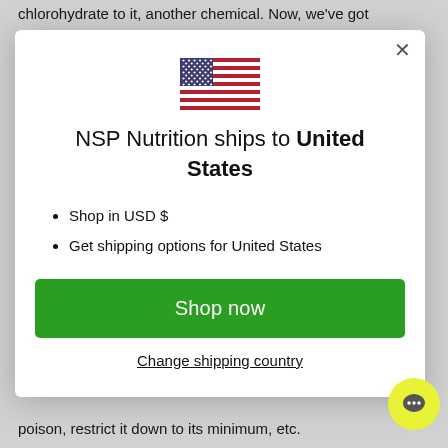chlorohydrate to it, another chemical. Now, we've got something that really suits our fancy and our taste. But, lo
[Figure (screenshot): A modal dialog box showing NSP Nutrition ships to United States, with a US flag icon, two bullet points (Shop in USD $, Get shipping options for United States), a green Shop now button, and a Change shipping country link. There is also a yellow circular chat bubble icon in the bottom right.]
poison, restrict it down to its minimum, etc.